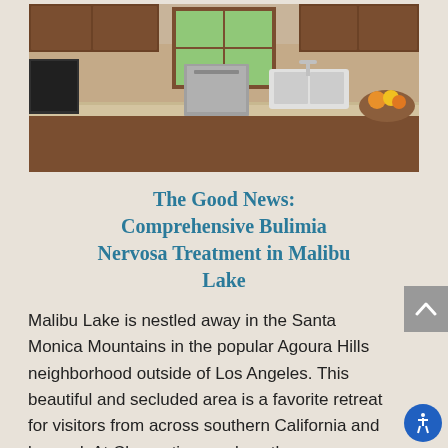[Figure (photo): Interior photo of a kitchen with dark wood cabinets, granite countertops, stainless steel dishwasher, farmhouse sink, and a window with green foliage outside. A bowl of fruit is visible on the right counter.]
The Good News: Comprehensive Bulimia Nervosa Treatment in Malibu Lake
Malibu Lake is nestled away in the Santa Monica Mountains in the popular Agoura Hills neighborhood outside of Los Angeles. This beautiful and secluded area is a favorite retreat for visitors from across southern California and beyond. At Clementine, we love the